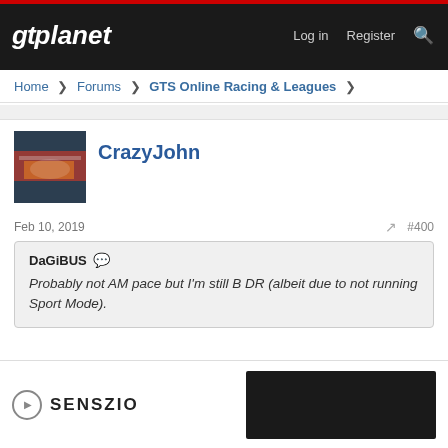gtplanet — Log in  Register
Home > Forums > GTS Online Racing & Leagues >
[Figure (photo): Avatar image of CrazyJohn showing a racing car]
CrazyJohn
Feb 10, 2019   #400
DaGiBUS — Probably not AM pace but I'm still B DR (albeit due to not running Sport Mode).
We will probably do a placement test before the season starts anyway.
👍 DaGiBUS
SENSZIO advertisement